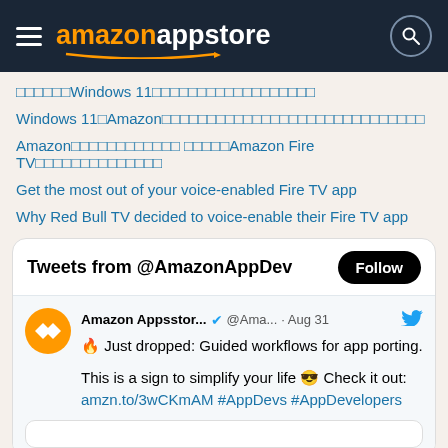amazon appstore
□□□□□□Windows 11□□□□□□□□□□□□□□□□□□
Windows 11□Amazon□□□□□□□□□□□□□□□□□□□□□□□□□□□□□
Amazon□□□□□□□□□□□□ □□□□□Amazon Fire TV□□□□□□□□□□□□□□
Get the most out of your voice-enabled Fire TV app
Why Red Bull TV decided to voice-enable their Fire TV app
Tweets from @AmazonAppDev
Amazon Appsstor... @Ama... · Aug 31
🔥 Just dropped: Guided workflows for app porting.

This is a sign to simplify your life 😎 Check it out:
amzn.to/3wCKmAM #AppDevs #AppDevelopers